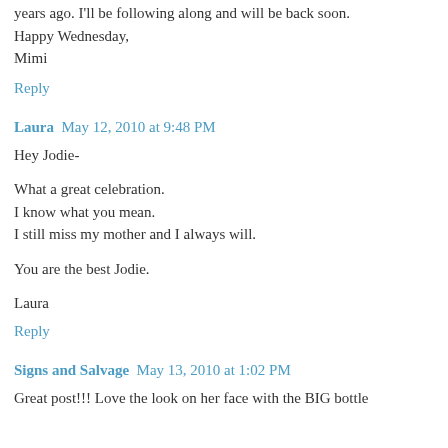years ago. I'll be following along and will be back soon.
Happy Wednesday,
Mimi
Reply
Laura  May 12, 2010 at 9:48 PM
Hey Jodie-
What a great celebration.
I know what you mean.
I still miss my mother and I always will.
You are the best Jodie.
Laura
Reply
Signs and Salvage  May 13, 2010 at 1:02 PM
Great post!!! Love the look on her face with the BIG bottle